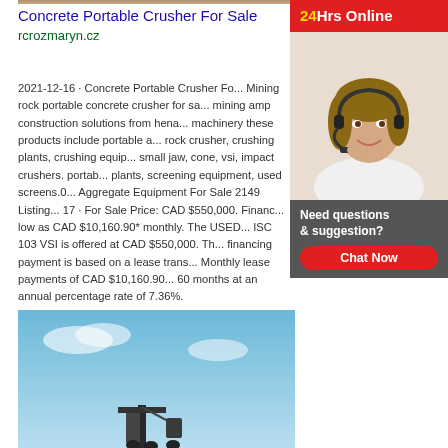[Figure (photo): Partial top image of machinery/crusher (cropped at top)]
Concrete Portable Crusher For Sale
rcrozmaryn.cz
2021-12-16 · Concrete Portable Crusher Fo... Mining rock portable concrete crusher for sa... mining amp construction solutions from hena... machinery these products include portable a... rock crusher, crushing plants, crushing equip... small jaw, cone, vsi, impact crushers. portab... plants, screening equipment, used screens.0... Aggregate Equipment For Sale 2149 Listing... 17 · For Sale Price: CAD $550,000. Financ... low as CAD $10,160.90* monthly. The USED... ISC 103 VSI is offered at CAD $550,000. Th... financing payment is based on a lease trans... Monthly lease payments of CAD $10,160.90... 60 months at an annual percentage rate of 7.36%.
[Figure (photo): Customer service agent with headset - 24Hrs Online chat widget with red header, agent photo, dark gray panel with 'Need questions & suggestion?' text and red 'Chat Now' button]
[Figure (photo): Blue sky with partial view of construction machinery/crane at bottom]